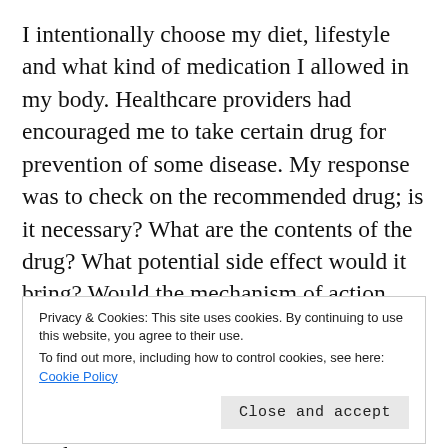I intentionally choose my diet, lifestyle and what kind of medication I allowed in my body. Healthcare providers had encouraged me to take certain drug for prevention of some disease. My response was to check on the recommended drug; is it necessary? What are the contents of the drug? What potential side effect would it bring? Would the mechanism of action injure me due to my condition? What is known about this drug? Is it even ethical? These are some of the questions I would bring to the table of discernment whether to take any
Privacy & Cookies: This site uses cookies. By continuing to use this website, you agree to their use.
To find out more, including how to control cookies, see here: Cookie Policy
go beyond our rational mind to our intuition. All these